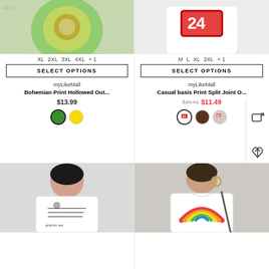[Figure (photo): Bohemian print hollowed out dress on model, green floral pattern]
XL  2XL  3XL  4XL  + 1
SELECT OPTIONS
myLikeMall
Bohemian Print Hollowed Out...
$13.99
[Figure (photo): White long sleeve shirt with number 24 in red and black on model]
M  L  XL  2XL  + 1
SELECT OPTIONS
myLikeMall
Casual basis Print Split Joint O...
$16.41  $11.49
[Figure (photo): White sweatshirt with black graphic print on model]
[Figure (photo): White sweatshirt with rainbow/colorful graphic print on model]